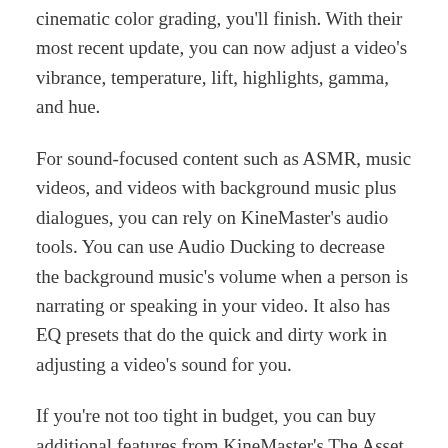cinematic color grading, you'll finish. With their most recent update, you can now adjust a video's vibrance, temperature, lift, highlights, gamma, and hue.
For sound-focused content such as ASMR, music videos, and videos with background music plus dialogues, you can rely on KineMaster's audio tools. You can use Audio Ducking to decrease the background music's volume when a person is narrating or speaking in your video. It also has EQ presets that do the quick and dirty work in adjusting a video's sound for you.
If you're not too tight in budget, you can buy additional features from KineMaster's The Asset Store. It updates weekly with in-purchase products like music, fonts, stickers, and more.